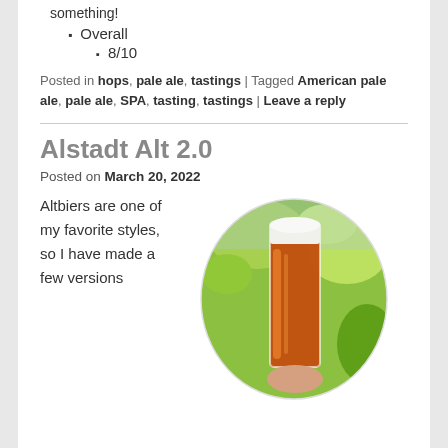something!
Overall
8/10
Posted in hops, pale ale, tastings | Tagged American pale ale, pale ale, SPA, tasting, tastings | Leave a reply
Alstadt Alt 2.0
Posted on March 20, 2022
Altbiers are one of my favorite styles, so I have made a few versions
[Figure (photo): A glass of amber/red beer with white foam head held up against a green leafy background, shown in a circular crop]